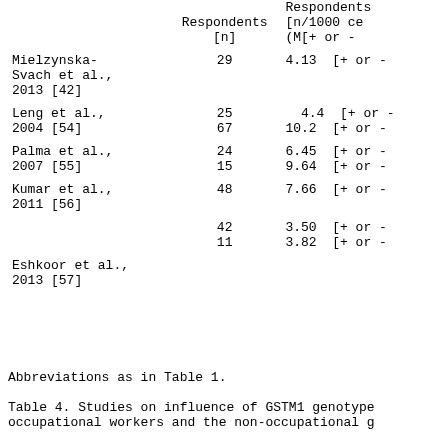|  | Respondents [n] | Respondents [n/1000 ce (M[+ or -] |
| --- | --- | --- |
| Mielzynska-
Svach et al.,
2013 [42] | 29 | 4.13  [+ or - |
| Leng et al.,
2004 [54] | 25
67 | 4.4  [+ or -
10.2  [+ or - |
| Palma et al.,
2007 [55] | 24
15 | 6.45  [+ or -
9.64  [+ or - |
| Kumar et al.,
2011 [56] | 48 | 7.66  [+ or - |
|  | 42
11 | 3.50  [+ or -
3.82  [+ or - |
| Eshkoor et al.,
2013 [57] |  |  |
Abbreviations as in Table 1.
Table 4. Studies on influence of GSTM1 genotype occupational workers and the non-occupational g